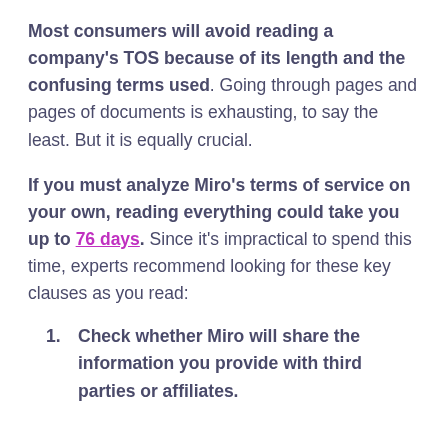Most consumers will avoid reading a company's TOS because of its length and the confusing terms used. Going through pages and pages of documents is exhausting, to say the least. But it is equally crucial.
If you must analyze Miro's terms of service on your own, reading everything could take you up to 76 days. Since it's impractical to spend this time, experts recommend looking for these key clauses as you read:
Check whether Miro will share the information you provide with third parties or affiliates.